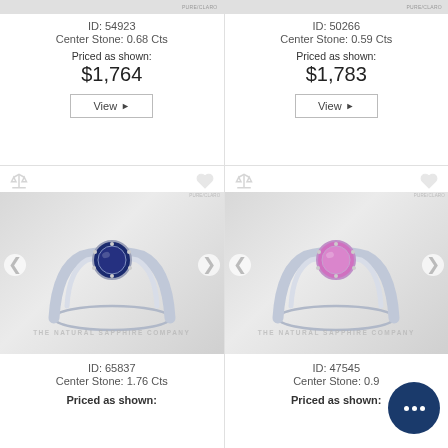ID: 54923
Center Stone: 0.68 Cts
Priced as shown:
$1,764
View
ID: 50266
Center Stone: 0.59 Cts
Priced as shown:
$1,783
View
[Figure (photo): Silver ring with blue sapphire center stone, solitaire setting, ID 65837]
ID: 65837
Center Stone: 1.76 Cts
Priced as shown:
[Figure (photo): Silver ring with pink sapphire center stone, solitaire setting, ID 47545]
ID: 47545
Center Stone: 0.9...
Priced as shown: